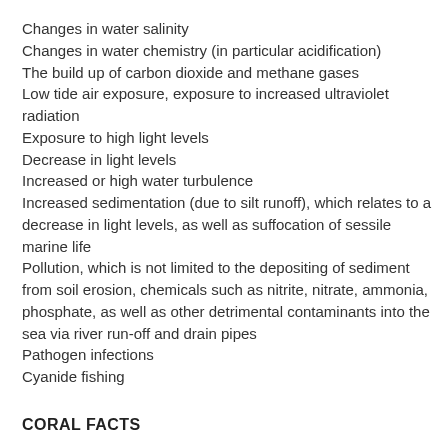Changes in water salinity
Changes in water chemistry (in particular acidification)
The build up of carbon dioxide and methane gases
Low tide air exposure, exposure to increased ultraviolet radiation
Exposure to high light levels
Decrease in light levels
Increased or high water turbulence
Increased sedimentation (due to silt runoff), which relates to a decrease in light levels, as well as suffocation of sessile marine life
Pollution, which is not limited to the depositing of sediment from soil erosion, chemicals such as nitrite, nitrate, ammonia, phosphate, as well as other detrimental contaminants into the sea via river run-off and drain pipes
Pathogen infections
Cyanide fishing
CORAL FACTS